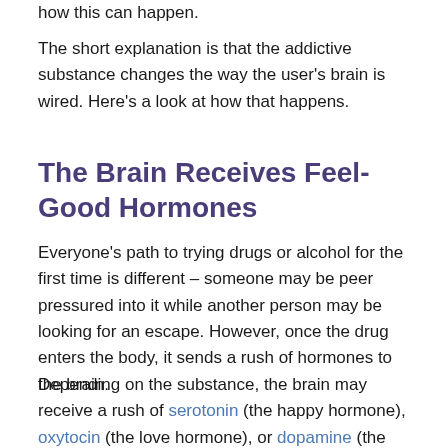how this can happen.
The short explanation is that the addictive substance changes the way the user's brain is wired. Here's a look at how that happens.
The Brain Receives Feel-Good Hormones
Everyone's path to trying drugs or alcohol for the first time is different – someone may be peer pressured into it while another person may be looking for an escape. However, once the drug enters the body, it sends a rush of hormones to the brain.
Depending on the substance, the brain may receive a rush of serotonin (the happy hormone), oxytocin (the love hormone), or dopamine (the pleasure hormone). It's important to note that all of these chemicals are also produced naturally in the body. The drugs, however,